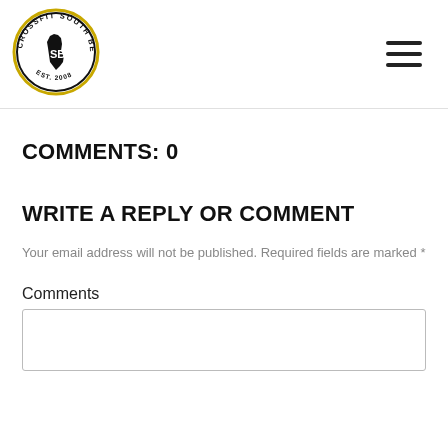[Figure (logo): CrossFit South Bend circular logo with EST. 2008, black and yellow]
COMMENTS: 0
WRITE A REPLY OR COMMENT
Your email address will not be published. Required fields are marked *
Comments